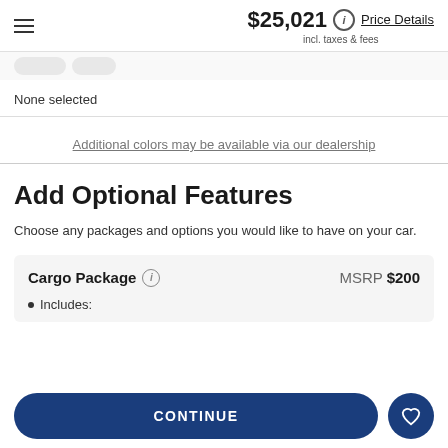$25,021 incl. taxes & fees  Price Details
None selected
Additional colors may be available via our dealership
Add Optional Features
Choose any packages and options you would like to have on your car.
Cargo Package  MSRP $200 • Includes:
CONTINUE